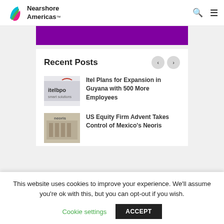Nearshore Americas
[Figure (illustration): Purple banner/advertisement strip]
Recent Posts
[Figure (photo): Itel BPO smart solutions sign/logo image]
Itel Plans for Expansion in Guyana with 500 More Employees
[Figure (photo): Neoris building exterior photo]
US Equity Firm Advent Takes Control of Mexico's Neoris
This website uses cookies to improve your experience. We'll assume you're ok with this, but you can opt-out if you wish.
Cookie settings  ACCEPT